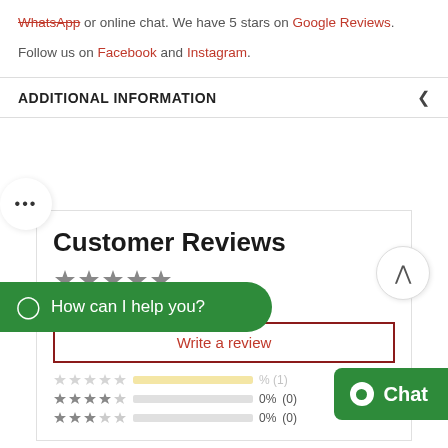WhatsApp or online chat. We have 5 stars on Google Reviews.
Follow us on Facebook and Instagram.
ADDITIONAL INFORMATION
Customer Reviews
Based on 1 review
Write a review
How can I help you?
100% (1)
0% (0)
0% (0)
Chat